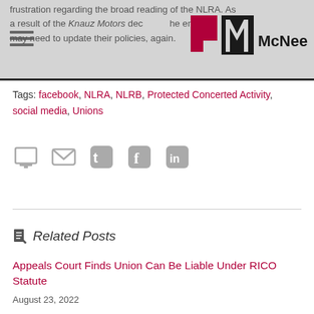frustration regarding the broad reading of the NLRA. As a result of the Knauz Motors decision, the employers may need to update their policies, again.
Tags: facebook, NLRA, NLRB, Protected Concerted Activity, social media, Unions
[Figure (infographic): Social sharing icons: print, email, Twitter, Facebook, LinkedIn]
Related Posts
Appeals Court Finds Union Can Be Liable Under RICO Statute
August 23, 2022